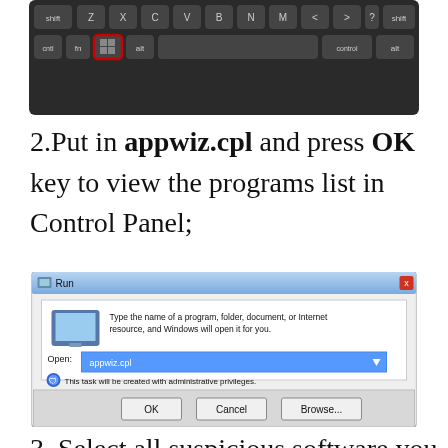[Figure (screenshot): Keyboard image showing bottom rows of keys including shift, Z, X, C, V, B, N, M, <, >, ?, shift on top row and cntl, fn, Windows key (highlighted with red border), alt, control, alt on bottom row]
2.Put in appwiz.cpl and press OK key to view the programs list in Control Panel;
[Figure (screenshot): Windows Run dialog box with 'appwiz.cpl' typed in the Open field. Shows text 'Type the name of a program, folder, document, or Internet resource, and Windows will open it for you.' and note 'This task will be created with administrative privileges.' Buttons: OK, Cancel, Browse...]
3. Select all suspicious software you